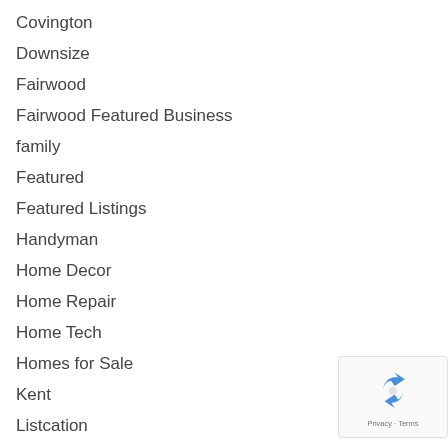Covington
Downsize
Fairwood
Fairwood Featured Business
family
Featured
Featured Listings
Handyman
Home Decor
Home Repair
Home Tech
Homes for Sale
Kent
Listcation
Mortage
New Homes